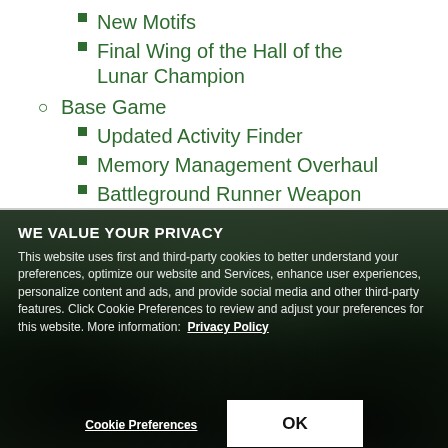New Motifs
Final Wing of the Hall of the Lunar Champion
Base Game
Updated Activity Finder
Memory Management Overhaul
Battleground Runner Weapon Outfit Styles
WE VALUE YOUR PRIVACY
This website uses first and third-party cookies to better understand your preferences, optimize our website and Services, enhance user experiences, personalize content and ads, and provide social media and other third-party features. Click Cookie Preferences to review and adjust your preferences for this website. More information:  Privacy Policy
Cookie Preferences
OK